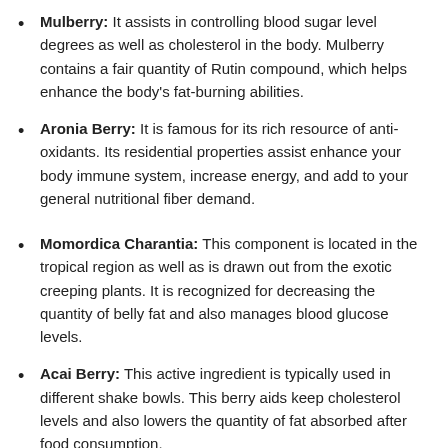Mulberry: It assists in controlling blood sugar level degrees as well as cholesterol in the body. Mulberry contains a fair quantity of Rutin compound, which helps enhance the body's fat-burning abilities.
Aronia Berry: It is famous for its rich resource of anti-oxidants. Its residential properties assist enhance your body immune system, increase energy, and add to your general nutritional fiber demand.
Momordica Charantia: This component is located in the tropical region as well as is drawn out from the exotic creeping plants. It is recognized for decreasing the quantity of belly fat and also manages blood glucose levels.
Acai Berry: This active ingredient is typically used in different shake bowls. This berry aids keep cholesterol levels and also lowers the quantity of fat absorbed after food consumption.